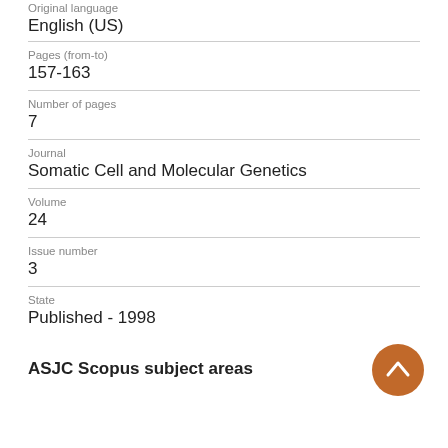Original language
English (US)
Pages (from-to)
157-163
Number of pages
7
Journal
Somatic Cell and Molecular Genetics
Volume
24
Issue number
3
State
Published - 1998
ASJC Scopus subject areas